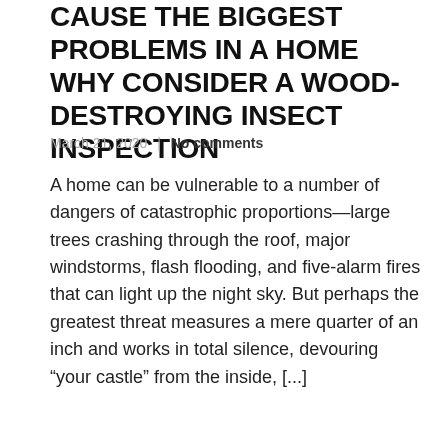CAUSE THE BIGGEST PROBLEMS IN A HOME WHY CONSIDER A WOOD-DESTROYING INSECT INSPECTION
March 21, 2020  |  No comments
A home can be vulnerable to a number of dangers of catastrophic proportions—large trees crashing through the roof, major windstorms, flash flooding, and five-alarm fires that can light up the night sky. But perhaps the greatest threat measures a mere quarter of an inch and works in total silence, devouring “your castle” from the inside, [...]
READ MORE
0
BUILDING A NEW HOME IN SOUTHLAKE? CONSIDER THE VALUE OF A NEW